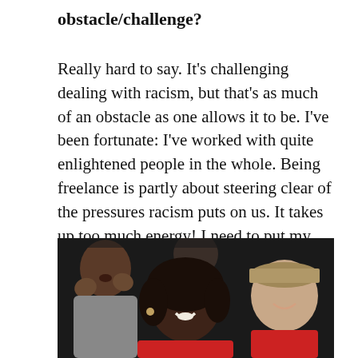obstacle/challenge?
Really hard to say. It's challenging dealing with racism, but that's as much of an obstacle as one allows it to be. I've been fortunate: I've worked with quite enlightened people in the whole. Being freelance is partly about steering clear of the pressures racism puts on us. It takes up too much energy! I need to put my energies into making plays!
[Figure (photo): Photograph of audience members laughing and smiling; a woman in the foreground with natural hair wearing a red top, and a young man on the right smiling and wearing a tan cap.]